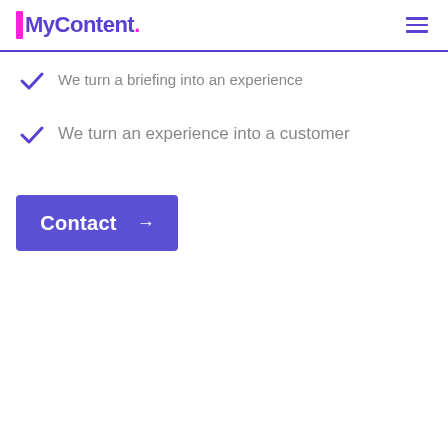IMyContent.
We turn a briefing into an experience
We turn an experience into a customer
Contact →